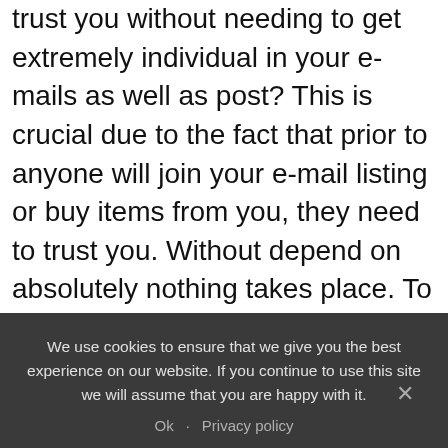trust you without needing to get extremely individual in your e-mails as well as post? This is crucial due to the fact that prior to anyone will join your e-mail listing or buy items from you, they need to trust you. Without depend on absolutely nothing takes place. To develop depend on, you need to let individuals learn about you. They require to know who you are, what your likes as well as dislikes are, as well as something about your household life.
7 Toughest Tasks for Internet Marketers
Online marketing provides you with a great means to express
We use cookies to ensure that we give you the best experience on our website. If you continue to use this site we will assume that you are happy with it.